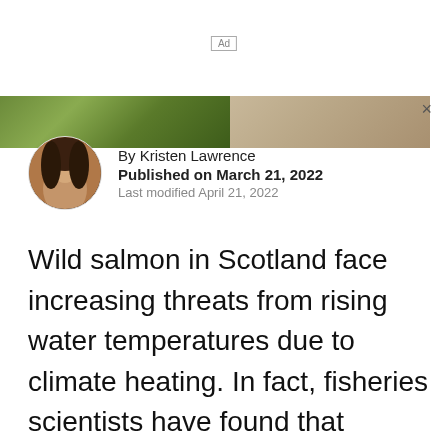Ad
[Figure (photo): Banner advertisement image split into two halves: left half showing green vegetation/grass, right half showing sandy/rocky terrain]
By Kristen Lawrence
Published on March 21, 2022
Last modified April 21, 2022
Wild salmon in Scotland face increasing threats from rising water temperatures due to climate heating. In fact, fisheries scientists have found that remote rivers in Scotland have already become too warm for Atlantic salmon during summertime. In